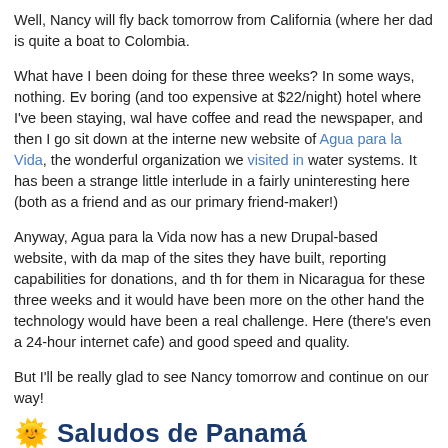Well, Nancy will fly back tomorrow from California (where her dad is quite a boat to Colombia.
What have I been doing for these three weeks? In some ways, nothing. Ev boring (and too expensive at $22/night) hotel where I've been staying, wal have coffee and read the newspaper, and then I go sit down at the interne new website of Agua para la Vida, the wonderful organization we visited in water systems. It has been a strange little interlude in a fairly uninteresting here (both as a friend and as our primary friend-maker!)
Anyway, Agua para la Vida now has a new Drupal-based website, with da map of the sites they have built, reporting capabilities for donations, and th for them in Nicaragua for these three weeks and it would have been more on the other hand the technology would have been a real challenge. Here (there's even a 24-hour internet cafe) and good speed and quality.
But I'll be really glad to see Nancy tomorrow and continue on our way!
Saludos de Panamá
By rfay - Posted on March 26th, 2008